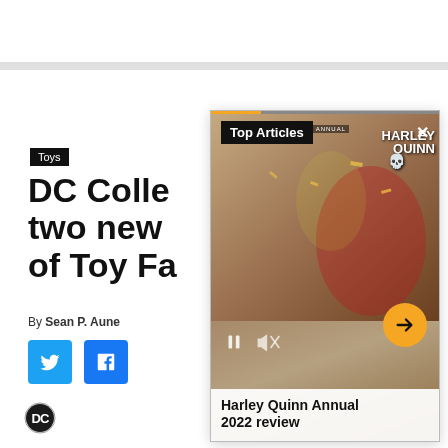Toys
DC Colle... two new... of Toy Fa...
By Sean P. Aune
[Figure (screenshot): Video overlay card showing a Harley Quinn Annual comic book cover with Top Articles label, playback controls (pause, mute), next arrow button, and caption 'Harley Quinn Annual 2022 review']
[Figure (logo): DC Comics circular logo at bottom left]